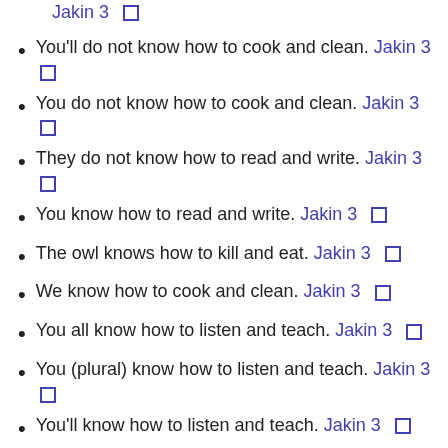Jakin 3 [icon]
You'll do not know how to cook and clean. Jakin 3 [icon]
You do not know how to cook and clean. Jakin 3 [icon]
They do not know how to read and write. Jakin 3 [icon]
You know how to read and write. Jakin 3 [icon]
The owl knows how to kill and eat. Jakin 3 [icon]
We know how to cook and clean. Jakin 3 [icon]
You all know how to listen and teach. Jakin 3 [icon]
You (plural) know how to listen and teach. Jakin 3 [icon]
You'll know how to listen and teach. Jakin 3 [icon]
You know how to listen and teach. Jakin 3 [icon]
The cows know how to eat and sleep. Jakin 3 [icon]
You did not know how to read and write in Basque...